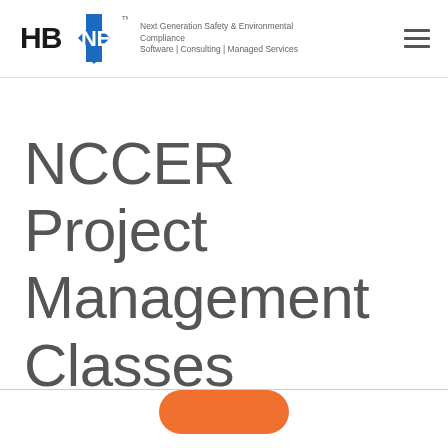HB NEXT | Next Generation Safety & Environmental Compliance Software | Consulting | Managed Services
NCCER Project Management Classes